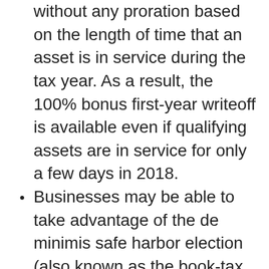without any proration based on the length of time that an asset is in service during the tax year. As a result, the 100% bonus first-year writeoff is available even if qualifying assets are in service for only a few days in 2018.
Businesses may be able to take advantage of the de minimis safe harbor election (also known as the book-tax conformity election) to expense the costs of lower-cost assets and materials and supplies, assuming the costs don't have to be capitalized under the Code Sec. 263A uniform capitalization (UNICAP) rules. To qualify for the election, the cost of a unit of